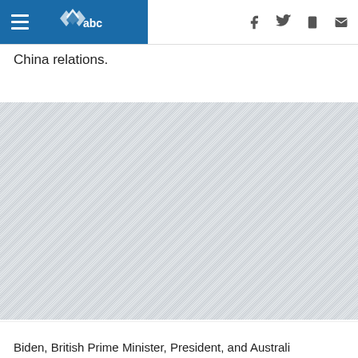ABC News logo with hamburger menu and social icons (Facebook, Twitter, mobile, email)
China relations.
[Figure (other): Advertisement placeholder with diagonal stripe pattern]
Biden, British Prime Minister, President, and Australi...